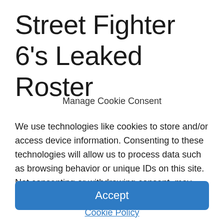Street Fighter 6's Leaked Roster
Manage Cookie Consent
We use technologies like cookies to store and/or access device information. Consenting to these technologies will allow us to process data such as browsing behavior or unique IDs on this site. Not consenting or withdrawing consent, may adversely affect certain features and functions.
Accept
Cookie Policy